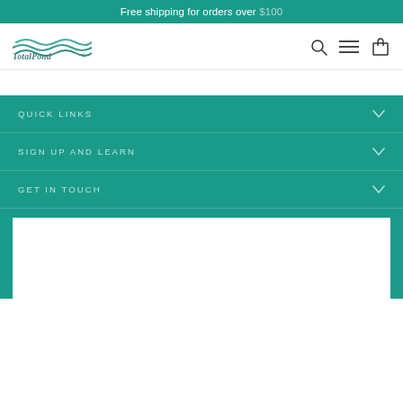Free shipping for orders over $100
[Figure (logo): TotalPond logo with wave lines above the text]
QUICK LINKS
SIGN UP AND LEARN
GET IN TOUCH